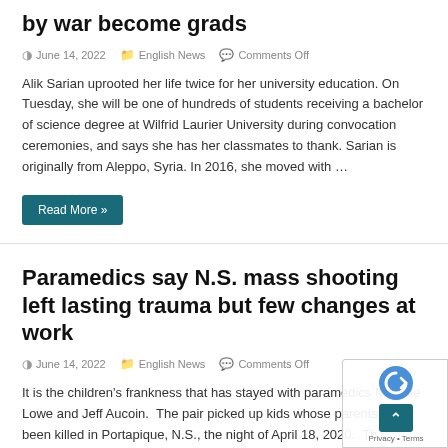by war become grads
June 14, 2022   English News   Comments Off
Alik Sarian uprooted her life twice for her university education. On Tuesday, she will be one of hundreds of students receiving a bachelor of science degree at Wilfrid Laurier University during convocation ceremonies, and says she has her classmates to thank. Sarian is originally from Aleppo, Syria. In 2016, she moved with …
Read More »
Paramedics say N.S. mass shooting left lasting trauma but few changes at work
June 14, 2022   English News   Comments Off
It is the children's frankness that has stayed with paramedics Melanie Lowe and Jeff Aucoin.  The pair picked up kids whose parents had been killed in Portapique, N.S., the night of April 18, 2020.  The children were likely in shock and could not yet fully understand what had just happened to them …